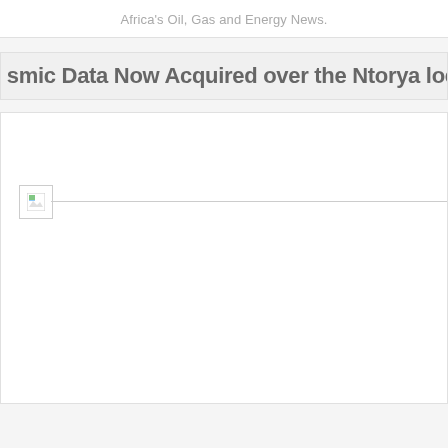Africa's Oil, Gas and Energy News.
smic Data Now Acquired over the Ntorya location, Ruvuma PS
[Figure (photo): Broken image placeholder with a small image icon and a horizontal line, inside a white content box]